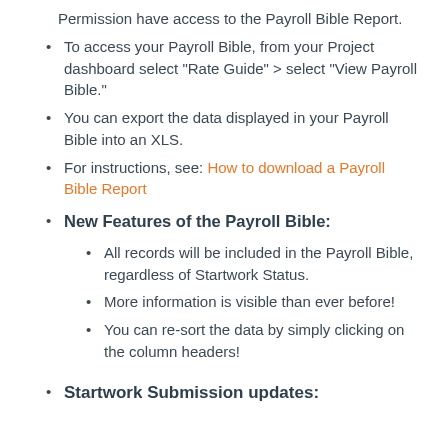Permission have access to the Payroll Bible Report.
To access your Payroll Bible, from your Project dashboard select "Rate Guide" > select "View Payroll Bible."
You can export the data displayed in your Payroll Bible into an XLS.
For instructions, see: How to download a Payroll Bible Report
New Features of the Payroll Bible:
All records will be included in the Payroll Bible, regardless of Startwork Status.
More information is visible than ever before!
You can re-sort the data by simply clicking on the column headers!
Startwork Submission updates: